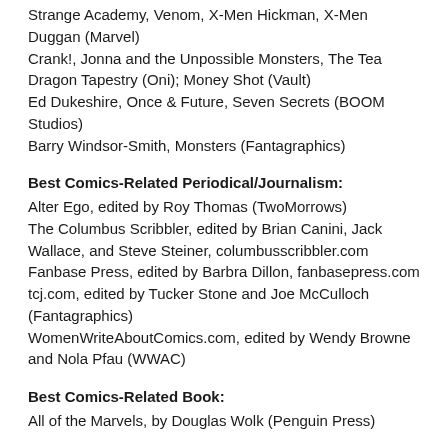Strange Academy, Venom, X-Men Hickman, X-Men Duggan (Marvel)
Crank!, Jonna and the Unpossible Monsters, The Tea Dragon Tapestry (Oni); Money Shot (Vault)
Ed Dukeshire, Once & Future, Seven Secrets (BOOM Studios)
Barry Windsor-Smith, Monsters (Fantagraphics)
Best Comics-Related Periodical/Journalism:
Alter Ego, edited by Roy Thomas (TwoMorrows)
The Columbus Scribbler, edited by Brian Canini, Jack Wallace, and Steve Steiner, columbusscribbler.com
Fanbase Press, edited by Barbra Dillon, fanbasepress.com
tcj.com, edited by Tucker Stone and Joe McCulloch (Fantagraphics)
WomenWriteAboutComics.com, edited by Wendy Browne and Nola Pfau (WWAC)
Best Comics-Related Book:
All of the Marvels, by Douglas Wolk (Penguin Press)